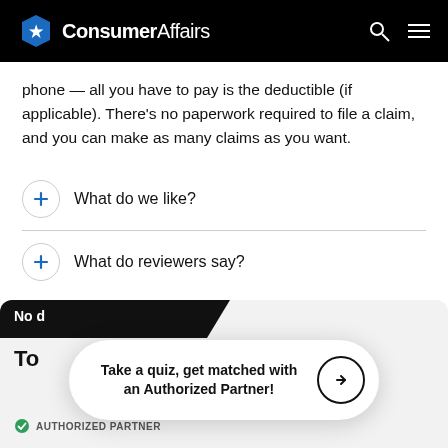ConsumerAffairs
phone — all you have to pay is the deductible (if applicable). There's no paperwork required to file a claim, and you can make as many claims as you want.
What do we like?
What do reviewers say?
No d...
To
AUTHORIZED PARTNER
Take a quiz, get matched with an Authorized Partner!